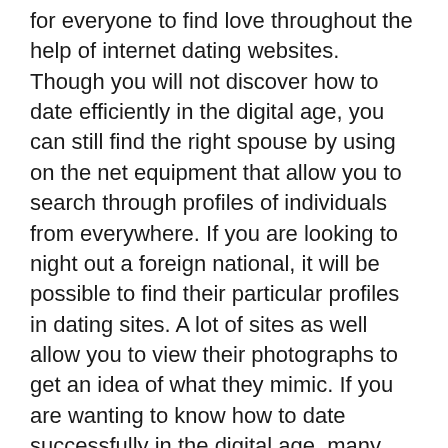for everyone to find love throughout the help of internet dating websites. Though you will not discover how to date efficiently in the digital age, you can still find the right spouse by using on the net equipment that allow you to search through profiles of individuals from everywhere. If you are looking to night out a foreign national, it will be possible to find their particular profiles in dating sites. A lot of sites as well allow you to view their photographs to get an idea of what they mimic. If you are wanting to know how to date successfully in the digital age, many times it helpful to use a internet dating website.
One of many things that you should watch out for when dating an individual is red flags. You should know what these are as well as how to avoid them. Although it usually is difficult, you ought not let an individual into your life while not first knowing them very well. It is important to have the time to